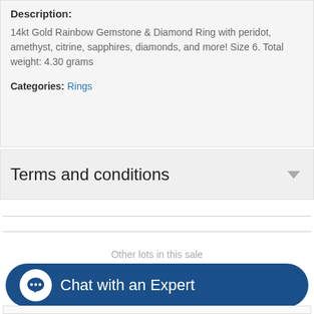Description:
14kt Gold Rainbow Gemstone & Diamond Ring with peridot, amethyst, citrine, sapphires, diamonds, and more! Size 6. Total weight: 4.30 grams
Categories: Rings
Terms and conditions
Other lots in this sale
[Figure (screenshot): Chat with an Expert button with speech bubble icon at bottom of page]